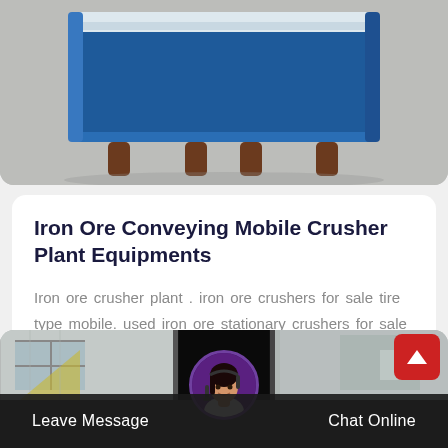[Figure (photo): Blue industrial metal container/crusher equipment on legs, photographed on a concrete floor]
Iron Ore Conveying Mobile Crusher Plant Equipments
Iron ore crusher plant . iron ore crushers for sale tire type mobile. used iron ore stationary crushers for sale equipment is a new and used...
[Figure (photo): Industrial building exterior with metal panels, large dark doorway, and windows]
Leave Message  Chat Online